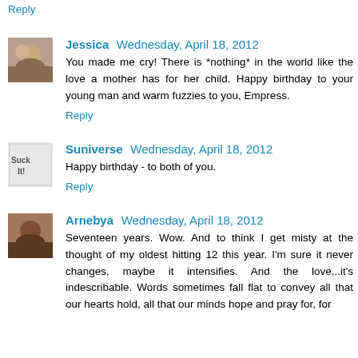Reply
Jessica  Wednesday, April 18, 2012
You made me cry! There is *nothing* in the world like the love a mother has for her child. Happy birthday to your young man and warm fuzzies to you, Empress.
Reply
Suniverse  Wednesday, April 18, 2012
Happy birthday - to both of you.
Reply
Arnebya  Wednesday, April 18, 2012
Seventeen years. Wow. And to think I get misty at the thought of my oldest hitting 12 this year. I'm sure it never changes, maybe it intensifies. And the love...it's indescribable. Words sometimes fall flat to convey all that our hearts hold, all that our minds hope and pray for, for our children.